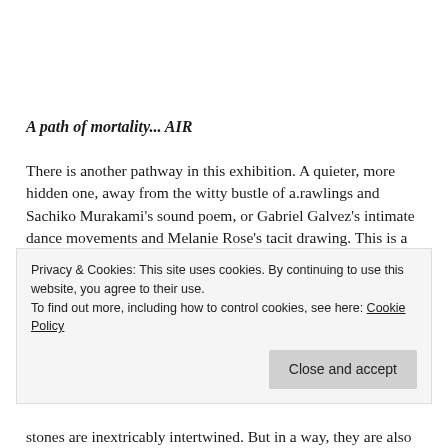A path of mortality... AIR
There is another pathway in this exhibition. A quieter, more hidden one, away from the witty bustle of a.rawlings and Sachiko Murakami's sound poem, or Gabriel Galvez's intimate dance movements and Melanie Rose's tacit drawing. This is a pathway that requires delicacy and gentleness, and is as ephemeral, and as enduring, as the installation itself.
Privacy & Cookies: This site uses cookies. By continuing to use this website, you agree to their use.
To find out more, including how to control cookies, see here: Cookie Policy
stones are inextricably intertwined. But in a way, they are also